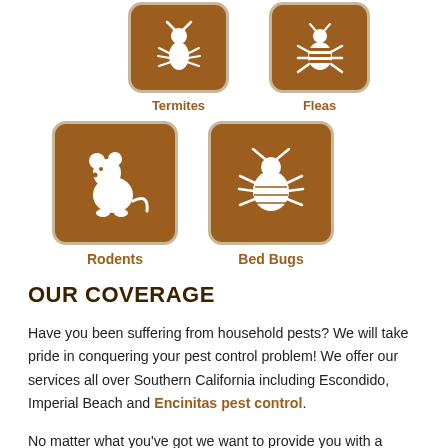[Figure (illustration): Brown rounded square icons with white insect/pest silhouettes: Termites (top left), Fleas (top right), Rodents (middle left), Bed Bugs (middle right)]
OUR COVERAGE
Have you been suffering from household pests? We will take pride in conquering your pest control problem! We offer our services all over Southern California including Escondido, Imperial Beach and Encinitas pest control.
No matter what you've got we want to provide you with a